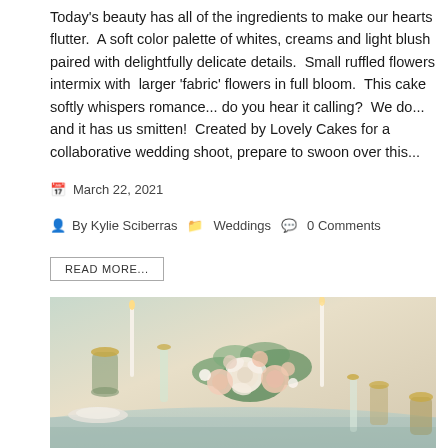Today's beauty has all of the ingredients to make our hearts flutter.  A soft color palette of whites, creams and light blush paired with delightfully delicate details.  Small ruffled flowers intermix with  larger 'fabric' flowers in full bloom.  This cake softly whispers romance... do you hear it calling?  We do... and it has us smitten!  Created by Lovely Cakes for a collaborative wedding shoot, prepare to swoon over this...
March 22, 2021
By Kylie Sciberras   Weddings   0 Comments
READ MORE...
[Figure (photo): Wedding table setting with floral centerpiece featuring cream and blush roses, greenery (eucalyptus), gold-rimmed champagne flutes, candles, and decorated place settings on a light blue tablecloth.]